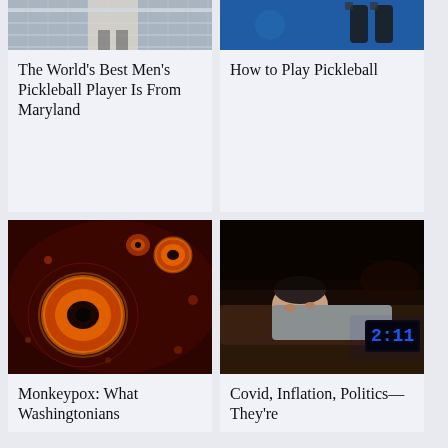[Figure (photo): Person playing pickleball at a net, viewed from below waist, wearing athletic clothes]
The World’s Best Men’s Pickleball Player Is From Maryland
[Figure (photo): Pickleball paddle and ball on a blue court surface]
How to Play Pickleball
[Figure (photo): Microscopic image of monkeypox virus particles glowing orange and yellow against a dark red background]
Monkeypox: What Washingtonians
[Figure (photo): Person lying in bed looking at a digital clock showing 2:11 in a dark room]
Covid, Inflation, Politics—They’re